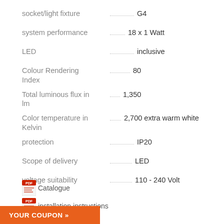| Property | Value |
| --- | --- |
| socket/light fixture | G4 |
| system performance | 18 x 1 Watt |
| LED | inclusive |
| Colour Rendering Index | 80 |
| Total luminous flux in lm | 1,350 |
| Color temperature in Kelvin | 2,700 extra warm white |
| protection | IP20 |
| Scope of delivery | LED |
| voltage suitability | 110 - 240 Volt |
Catalogue
installation instructions
YOUR COUPON »